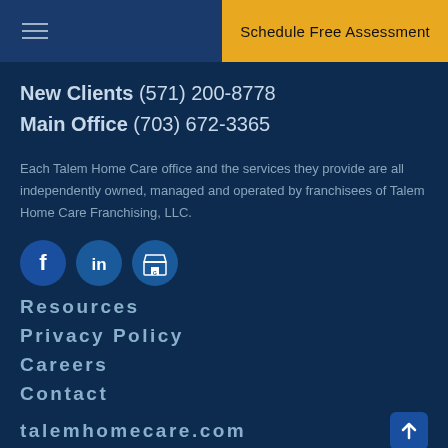Schedule Free Assessment
New Clients (571) 200-8778
Main Office (703) 672-3365
Each Talem Home Care office and the services they provide are all independently owned, managed and operated by franchisees of Talem Home Care Franchising, LLC.
[Figure (logo): Social media icons row: Facebook, LinkedIn, and Google My Business icons in circular dark-blue buttons]
Resources
Privacy Policy
Careers
Contact
talemhomecare.com